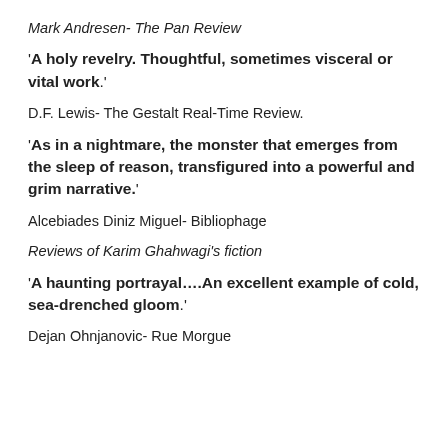Mark Andresen- The Pan Review
'A holy revelry. Thoughtful, sometimes visceral or vital work.'
D.F. Lewis- The Gestalt Real-Time Review.
'As in a nightmare, the monster that emerges from the sleep of reason, transfigured into a powerful and grim narrative.'
Alcebiades Diniz Miguel- Bibliophage
Reviews of Karim Ghahwagi's fiction
'A haunting portrayal….An excellent example of cold, sea-drenched gloom.'
Dejan Ohnjanovic- Rue Morgue